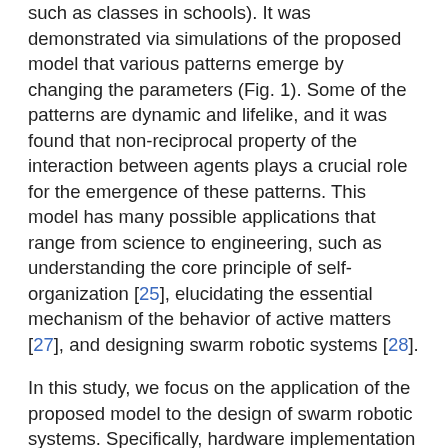such as classes in schools). It was demonstrated via simulations of the proposed model that various patterns emerge by changing the parameters (Fig. 1). Some of the patterns are dynamic and lifelike, and it was found that non-reciprocal property of the interaction between agents plays a crucial role for the emergence of these patterns. This model has many possible applications that range from science to engineering, such as understanding the core principle of self-organization [25], elucidating the essential mechanism of the behavior of active matters [27], and designing swarm robotic systems [28].
In this study, we focus on the application of the proposed model to the design of swarm robotic systems. Specifically, hardware implementation of the proposed model is discussed. We developed swarm robots, each of which can move omni-directionally and can detect relative position between itself and nearby robots. We performed real-world experiments by using five robots, and demonstrated that the simulation results can be largely reproduced.
This paper is organized as follows. In section 2, our model proposed previously is reviewed briefly. In section 3, we introduce the hardware design of the robots. In section 4,